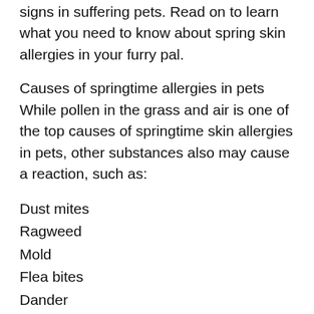signs in suffering pets. Read on to learn what you need to know about spring skin allergies in your furry pal.
Causes of springtime allergies in pets
While pollen in the grass and air is one of the top causes of springtime skin allergies in pets, other substances also may cause a reaction, such as:
Dust mites
Ragweed
Mold
Flea bites
Dander
Some pets may have year-round allergies, but experience flare-ups in the spring when